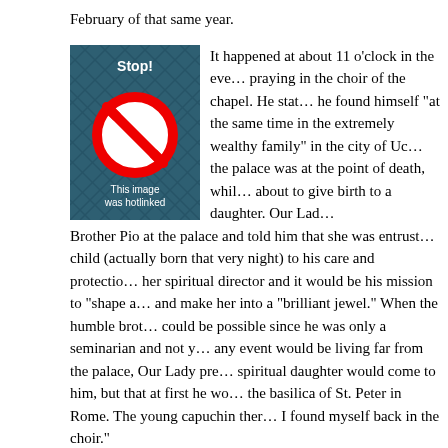February of that same year.
[Figure (illustration): A 'Stop! This image was hotlinked' placeholder image with a red prohibition sign on a dark blue patterned background.]
It happened at about 11 o'clock in the eve… praying in the choir of the chapel. He stat… he found himself "at the same time in the extremely wealthy family" in the city of Uc… the palace was at the point of death, whil… about to give birth to a daughter. Our Lad… Brother Pio at the palace and told him that she was entrust… child (actually born that very night) to his care and protectio… her spiritual director and it would be his mission to "shape a… and make her into a "brilliant jewel." When the humble brot… could be possible since he was only a seminarian and not y… any event would be living far from the palace, Our Lady pre… spiritual daughter would come to him, but that at first he wo… the basilica of St. Peter in Rome. The young capuchin ther… I found myself back in the choir."
What Our Lady foretold came about as she had announce…